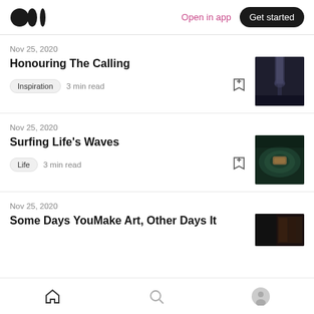Medium logo | Open in app | Get started
Nov 25, 2020
Honouring The Calling
Inspiration  3 min read
Nov 25, 2020
Surfing Life's Waves
Life  3 min read
Nov 25, 2020
Some Days YouMake Art, Other Days It
Home | Search | Profile